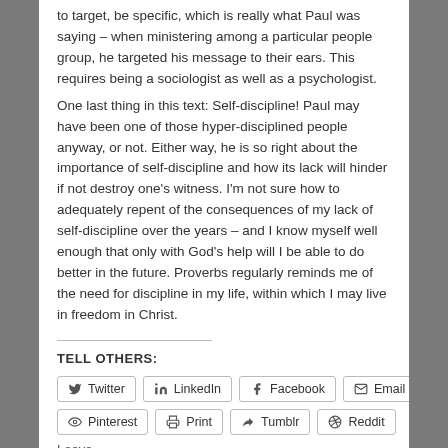to target, be specific, which is really what Paul was saying – when ministering among a particular people group, he targeted his message to their ears. This requires being a sociologist as well as a psychologist.
One last thing in this text: Self-discipline! Paul may have been one of those hyper-disciplined people anyway, or not. Either way, he is so right about the importance of self-discipline and how its lack will hinder if not destroy one's witness. I'm not sure how to adequately repent of the consequences of my lack of self-discipline over the years – and I know myself well enough that only with God's help will I be able to do better in the future. Proverbs regularly reminds me of the need for discipline in my life, within which I may live in freedom in Christ.
TELL OTHERS:
[Figure (other): Social sharing buttons: Twitter, LinkedIn, Facebook, Email, Pinterest, Print, Tumblr, Reddit]